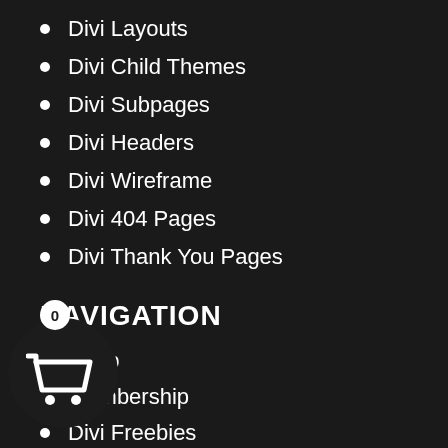Divi Layouts
Divi Child Themes
Divi Subpages
Divi Headers
Divi Wireframe
Divi 404 Pages
Divi Thank You Pages
NAVIGATION
Shop
Membership
Divi Freebies
Documentation
Customer Showcase
Request Product
FAQ